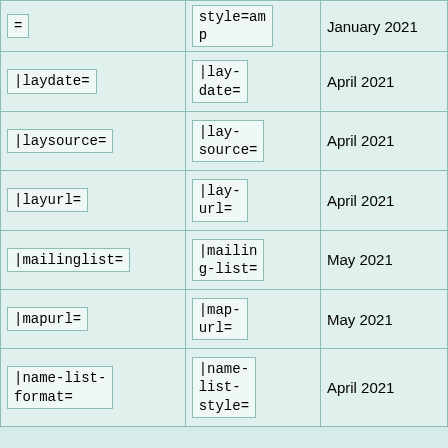| Parameter | Alias | Since |
| --- | --- | --- |
| = | style=amp
p | January 2021 |
| |laydate= | |lay-
date= | April 2021 |
| |laysource= | |lay-
source= | April 2021 |
| |layurl= | |lay-
url= | April 2021 |
| |mailinglist= | |mailin
g-list= | May 2021 |
| |mapurl= | |map-
url= | May 2021 |
| |name-list-
format= | |name-
list-
style= | April 2021 |